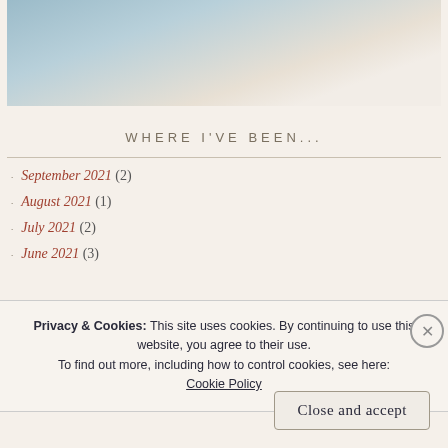[Figure (photo): Partial photo of a person wearing a white top and layered necklace, cropped at shoulders/neck area]
WHERE I'VE BEEN...
September 2021 (2)
August 2021 (1)
July 2021 (2)
June 2021 (3)
Privacy & Cookies: This site uses cookies. By continuing to use this website, you agree to their use.
To find out more, including how to control cookies, see here:
Cookie Policy
Close and accept